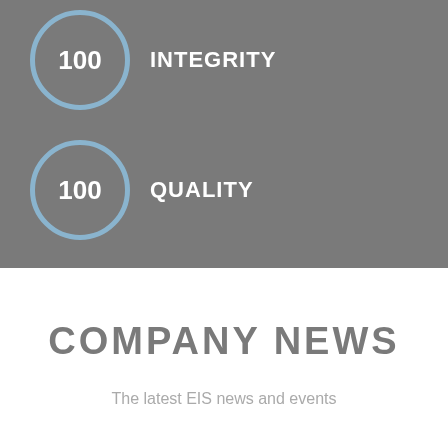[Figure (infographic): Circle badge with number 100 and label INTEGRITY on grey background]
[Figure (infographic): Circle badge with number 100 and label QUALITY on grey background]
COMPANY NEWS
The latest EIS news and events